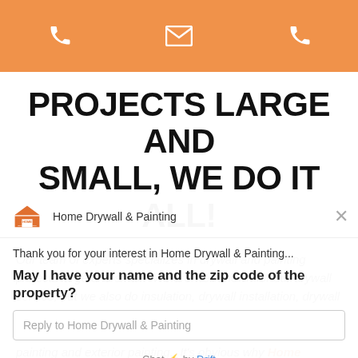[Figure (infographic): Orange header bar with three icons: phone (left), email/envelope (center), phone (right) in white on orange background]
PROJECTS LARGE AND SMALL, WE DO IT ALL!
Our team of experts specializes in drywall and painting projects large and small. We are well known for our drywall service, but we also do insulation, drywall installation, drywall hanging, and drywall texture projects. We even do your taping, along with improving all painting. We do both interior painting and exterior painting. It's obvious why Home Drywall and Painting is the go-to home remodeling company in Minneapolis and St. Paul and now Denver, Colorado!
[Figure (screenshot): Chat popup overlay from Home Drywall & Painting via Drift. Shows company logo, greeting 'Thank you for your interest in Home Drywall & Painting...', question 'May I have your name and the zip code of the property?', reply input box, and 'Chat by Drift' footer.]